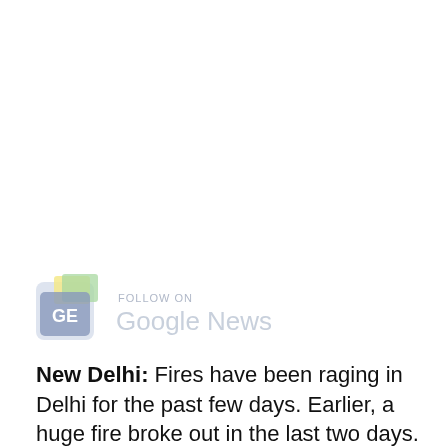[Figure (logo): Follow on Google News logo with colorful newspaper icon and text 'FOLLOW ON Google News']
New Delhi: Fires have been raging in Delhi for the past few days. Earlier, a huge fire broke out in the last two days. Today, once again, a large fire has been reported.